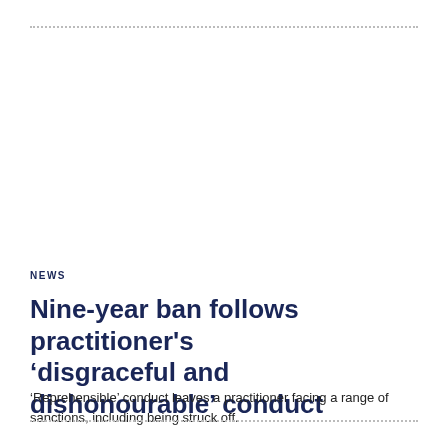NEWS
Nine-year ban follows practitioner's ‘disgraceful and dishonourable’ conduct
‘Reprehensible’ conduct leaves a practitioner facing a range of sanctions, including being struck off.